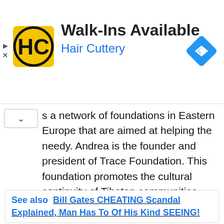[Figure (infographic): Hair Cuttery advertisement banner with logo (HC in black and yellow circle), text 'Walk-Ins Available' in bold black and 'Hair Cuttery' in blue, and a blue diamond navigation icon on the right. Left side has play and close (X) icons.]
s a network of foundations in Eastern Europe that are aimed at helping the needy. Andrea is the founder and president of Trace Foundation. This foundation promotes the cultural continuity of Tibetan communities within China.
Jonathan is a hedge fund manager and a political donor. He is one of the founders of Friends of Democracy. Friends of Democracy is a PAC that is dedicated to reducing how money influences politics.
See also  Bill Gates CHEATING Scandal Explained, Man Has To Of His Kind SEEING!